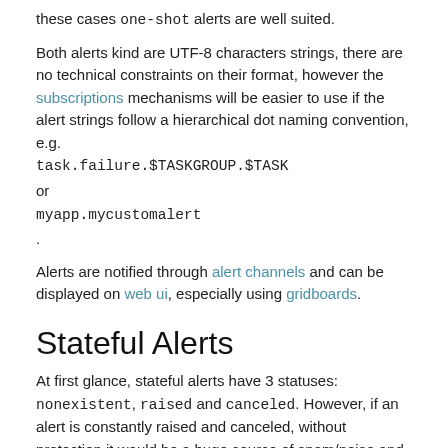these cases one-shot alerts are well suited.
Both alerts kind are UTF-8 characters strings, there are no technical constraints on their format, however the subscriptions mechanisms will be easier to use if the alert strings follow a hierarchical dot naming convention, e.g. task.failure.$TASKGROUP.$TASK or myapp.mycustomalert.
Alerts are notified through alert channels and can be displayed on web ui, especially using gridboards.
Stateful Alerts
At first glance, stateful alerts have 3 statuses: nonexistent, raised and canceled. However, if an alert is constantly raised and canceled, without protection it would be a huge source of spam/noise and there would be no benefit to handle alerts as stateful. Therefore the alert engine implements grace delays before actually raising or canceling an alert, and there are a few more statuses and transitions than the most intuitive ones. They are described below.
Alerts State Diagram: